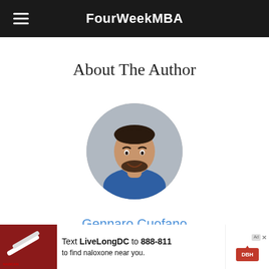FourWeekMBA
About The Author
[Figure (photo): Circular portrait photo of Gennaro Cuofano, a man with short hair and a beard wearing a blue shirt, smiling in front of a stone wall background.]
Gennaro Cuofano
Gennaro is the creator of
[Figure (infographic): Advertisement banner at the bottom: 'Text LiveLongDC to 888-811 to find naloxone near you.' with red background image on left, white text area in center, and logos on right.]